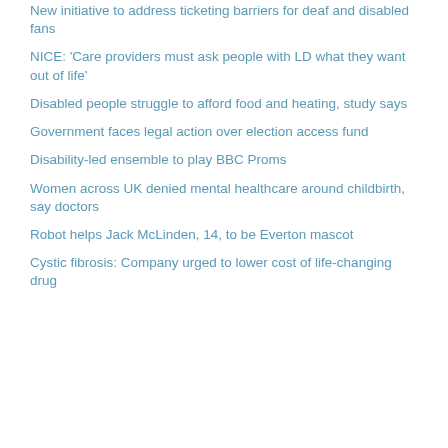New initiative to address ticketing barriers for deaf and disabled fans
NICE: 'Care providers must ask people with LD what they want out of life'
Disabled people struggle to afford food and heating, study says
Government faces legal action over election access fund
Disability-led ensemble to play BBC Proms
Women across UK denied mental healthcare around childbirth, say doctors
Robot helps Jack McLinden, 14, to be Everton mascot
Cystic fibrosis: Company urged to lower cost of life-changing drug